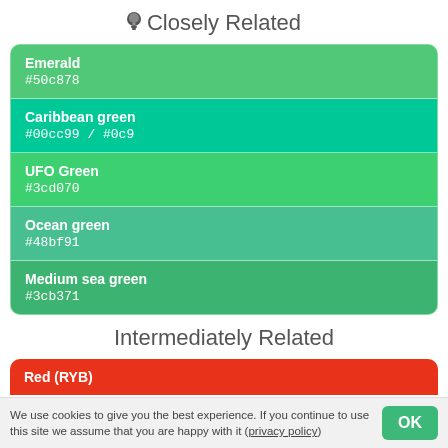Closely Related
Emerald
#50c878
Caribbean green
#00cc99 / #0c9
UFO Green
#3cd070
Ocean green
#48bf91
Medium sea green
#3cb371
Intermediately Related
Red (RYB)
We use cookies to give you the best experience. If you continue to use this site we assume that you are happy with it (privacy policy)